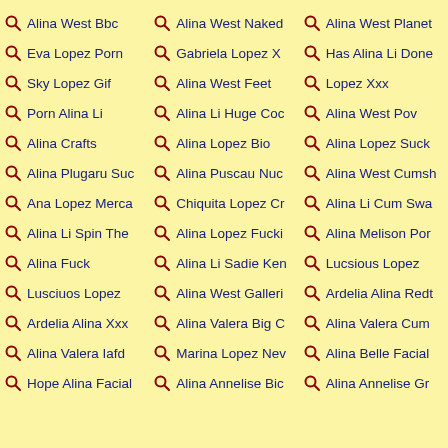Alina West Bbc
Alina West Naked
Alina West Planet
Eva Lopez Porn
Gabriela Lopez X
Has Alina Li Done
Sky Lopez Gif
Alina West Feet
Lopez Xxx
Porn Alina Li
Alina Li Huge Coc
Alina West Pov
Alina Crafts
Alina Lopez Bio
Alina Lopez Suck
Alina Plugaru Suc
Alina Puscau Nuc
Alina West Cumsh
Ana Lopez Merca
Chiquita Lopez Cr
Alina Li Cum Swa
Alina Li Spin The
Alina Lopez Fucki
Alina Melison Por
Alina Fuck
Alina Li Sadie Ken
Lucsious Lopez
Lusciuos Lopez
Alina West Galleri
Ardelia Alina Redt
Ardelia Alina Xxx
Alina Valera Big C
Alina Valera Cum
Alina Valera Iafd
Marina Lopez Nev
Alina Belle Facial
Hope Alina Facial
Alina Annelise Bic
Alina Annelise Gr